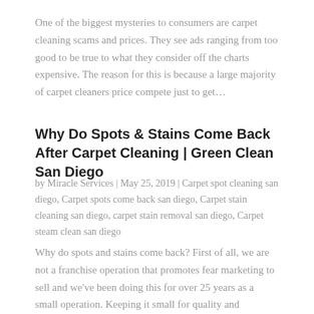One of the biggest mysteries to consumers are carpet cleaning scams and prices. They see ads ranging from too good to be true to what they consider off the charts expensive. The reason for this is because a large majority of carpet cleaners price compete just to get...
Why Do Spots & Stains Come Back After Carpet Cleaning | Green Clean San Diego
by Miracle Services | May 25, 2019 | Carpet spot cleaning san diego, Carpet spots come back san diego, Carpet stain cleaning san diego, carpet stain removal san diego, Carpet steam clean san diego
Why do spots and stains come back? First of all, we are not a franchise operation that promotes fear marketing to sell and we've been doing this for over 25 years as a small operation. Keeping it small for quality and consistantcy is key rather than sending out...